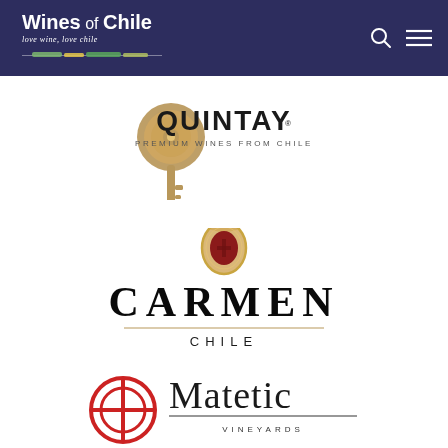Wines of Chile — love wine, love chile
[Figure (logo): Quintay Premium Wines from Chile logo — ornate golden key icon with QUINTAY in bold letters and PREMIUM WINES FROM CHILE subtitle]
[Figure (logo): Carmen Chile logo — ornate red and gold crest/medallion above CARMEN in large serif letters with a gold horizontal rule and CHILE below]
[Figure (logo): Matetic Vineyards logo — red circular crosshair emblem beside Matetic in large serif font with VINEYARDS below in spaced caps]